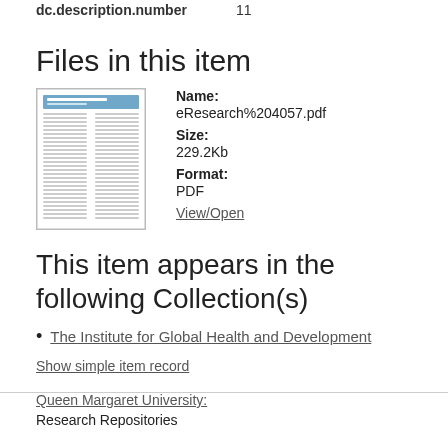dc.description.number    11
Files in this item
[Figure (other): Thumbnail image of a PDF document page showing a multi-column academic paper with a blue header bar]
Name: eResearch%204057.pdf
Size: 229.2Kb
Format: PDF
View/Open
This item appears in the following Collection(s)
The Institute for Global Health and Development
Show simple item record
Queen Margaret University:
Research Repositories